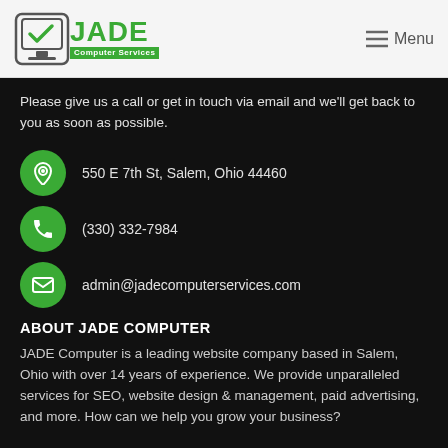[Figure (logo): JADE Computer Services logo with green checkmark laptop icon and green JADE text]
Please give us a call or get in touch via email and we'll get back to you as soon as possible.
550 E 7th St, Salem, Ohio 44460
(330) 332-7984
admin@jadecomputerservices.com
ABOUT JADE COMPUTER
JADE Computer is a leading website company based in Salem, Ohio with over 14 years of experience. We provide unparalleled services for SEO, website design & management, paid advertising, and more. How can we help you grow your business?